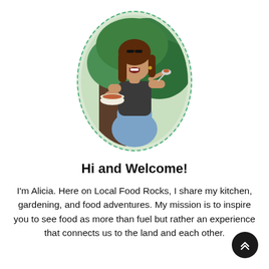[Figure (photo): Oval portrait photo of a smiling woman with long brown hair, holding a bowl of food and a spoon, seated outdoors near a tree with green foliage. The oval is framed with a dashed green border.]
Hi and Welcome!
I'm Alicia. Here on Local Food Rocks, I share my kitchen, gardening, and food adventures. My mission is to inspire you to see food as more than fuel but rather an experience that connects us to the land and each other.